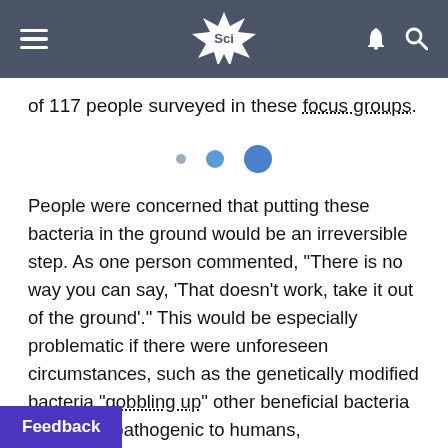Sci
of 117 people surveyed in these focus groups.
[Figure (other): Three circles of increasing size in blue, suggesting a pagination or progress indicator]
People were concerned that putting these bacteria in the ground would be an irreversible step. As one person commented, "There is no way you can say, 'That doesn't work, take it out of the ground'." This would be especially problematic if there were unforeseen circumstances, such as the genetically modified bacteria "gobbling up" other beneficial bacteria becoming pathogenic to humans,